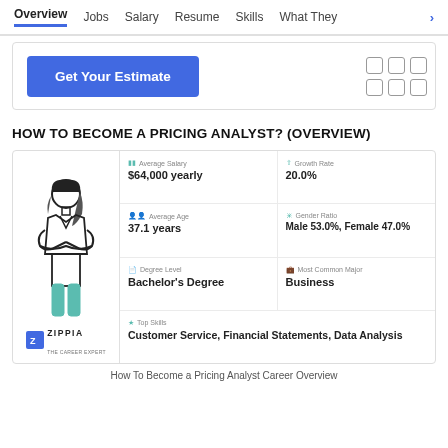Overview | Jobs | Salary | Resume | Skills | What They
[Figure (screenshot): Get Your Estimate button with a grid/checklist icon on the right, inside a bordered card]
HOW TO BECOME A PRICING ANALYST? (OVERVIEW)
[Figure (infographic): Career overview infographic for Pricing Analyst showing: figure illustration of a woman with Zippia logo; Average Salary $64,000 yearly; Growth Rate 20.0%; Average Age 37.1 years; Gender Ratio Male 53.0%, Female 47.0%; Degree Level Bachelor's Degree; Most Common Major Business; Top Skills Customer Service, Financial Statements, Data Analysis]
How To Become a Pricing Analyst Career Overview